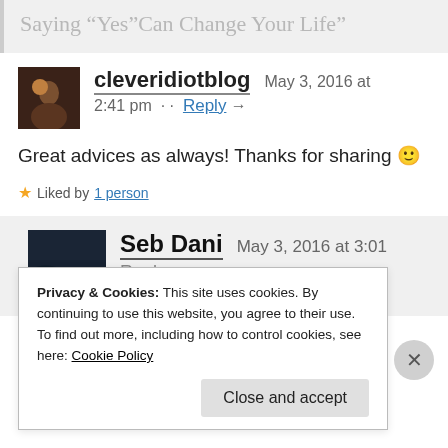Saying “Yes”Can Change Your Life”
[Figure (photo): Small square avatar photo with dark tones, person figure]
cleveridiotblog   May 3, 2016 at 2:41 pm · · Reply →
Great advices as always! Thanks for sharing 🙂
★ Liked by 1 person
[Figure (photo): Small square avatar photo of dark water/aerial scene]
Seb Dani   May 3, 2016 at 3:01
Privacy & Cookies: This site uses cookies. By continuing to use this website, you agree to their use.
To find out more, including how to control cookies, see here: Cookie Policy
Close and accept